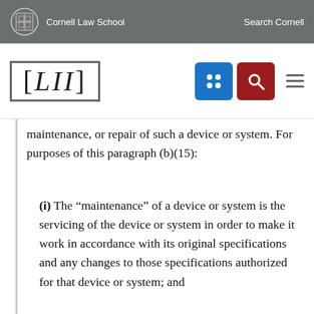Cornell Law School  |  Search Cornell
[Figure (logo): LII Legal Information Institute logo with bracket design]
maintenance, or repair of such a device or system. For purposes of this paragraph (b)(15):
(i) The “maintenance” of a device or system is the servicing of the device or system in order to make it work in accordance with its original specifications and any changes to those specifications authorized for that device or system; and
(ii) The “repair” of a device or system is the restoring of the device or system to the state of working in accordance with its original specifications and any